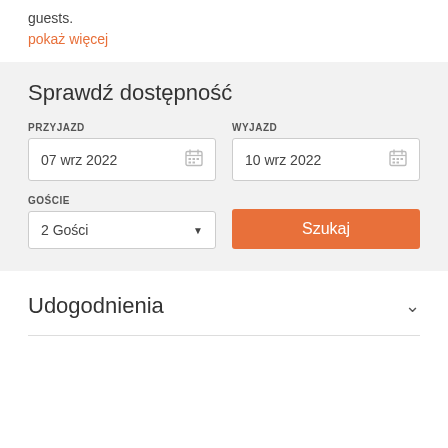guests.
pokaż więcej
Sprawdź dostępność
PRZYJAZD: 07 wrz 2022
WYJAZD: 10 wrz 2022
GOŚCIE: 2 Gości
Szukaj
Udogodnienia